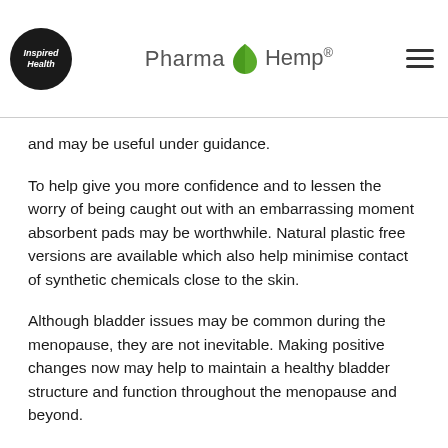Inspired Health | Pharma Hemp®
and may be useful under guidance.
To help give you more confidence and to lessen the worry of being caught out with an embarrassing moment absorbent pads may be worthwhile. Natural plastic free versions are available which also help minimise contact of synthetic chemicals close to the skin.
Although bladder issues may be common during the menopause, they are not inevitable. Making positive changes now may help to maintain a healthy bladder structure and function throughout the menopause and beyond.